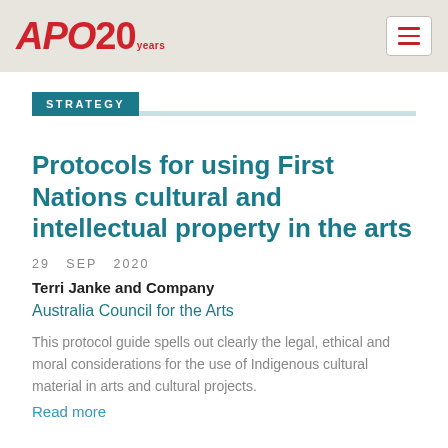APO 20 years
STRATEGY
Protocols for using First Nations cultural and intellectual property in the arts
29 SEP 2020
Terri Janke and Company
Australia Council for the Arts
This protocol guide spells out clearly the legal, ethical and moral considerations for the use of Indigenous cultural material in arts and cultural projects.
Read more